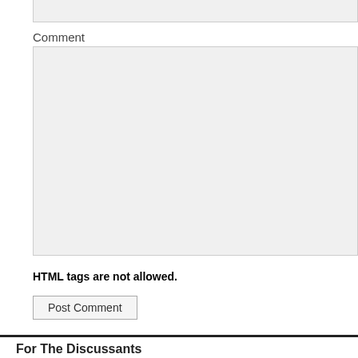Comment
HTML tags are not allowed.
Post Comment
For The Discussants
Log in
Entries RSS